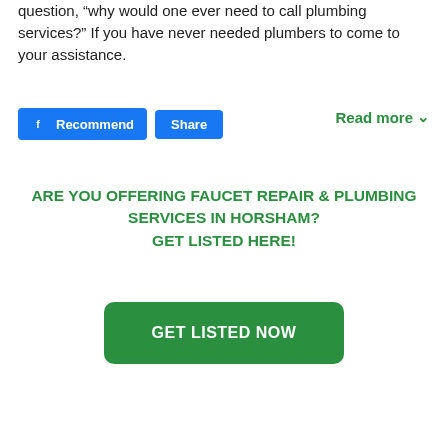question, “why would one ever need to call plumbing services?” If you have never needed plumbers to come to your assistance.
[Figure (other): Facebook Recommend and Share buttons, plus a green Read more link with chevron]
ARE YOU OFFERING FAUCET REPAIR & PLUMBING SERVICES IN HORSHAM?
GET LISTED HERE!
[Figure (other): Green button with white bold text reading GET LISTED NOW]